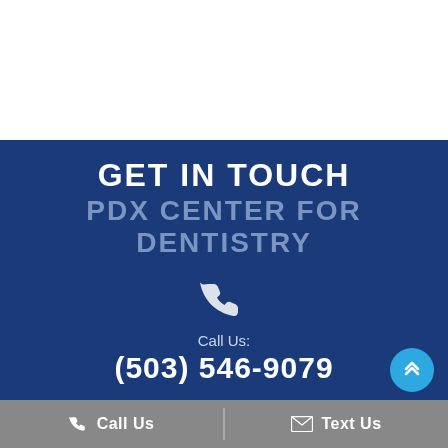GET IN TOUCH
PDX CENTER FOR DENTISTRY
Call Us:
(503) 546-9079
Call Us   Text Us